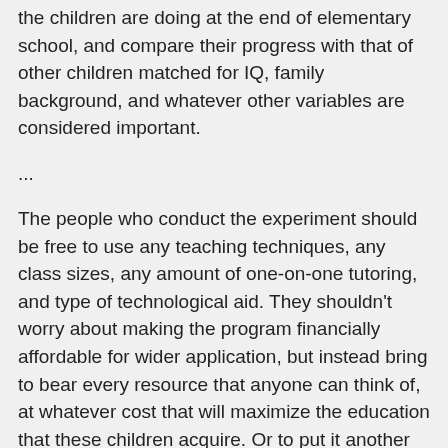the children are doing at the end of elementary school, and compare their progress with that of other children matched for IQ, family background, and whatever other variables are considered important.
...
The people who conduct the experiment should be free to use any teaching techniques, any class sizes, any amount of one-on-one tutoring, and type of technological aid. They shouldn't worry about making the program financially affordable for wider application, but instead bring to bear every resource that anyone can think of, at whatever cost that will maximize the education that these children acquire. Or to put it another way, their mission is to conduct the experiment in such a way, if it fails to produce success, there will be no excuses. Only three ground rules are nonnegotiable: